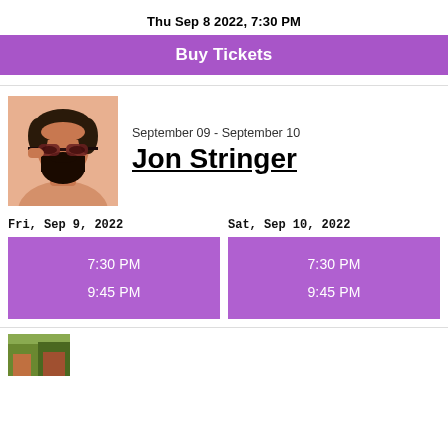Thu Sep 8 2022, 7:30 PM
Buy Tickets
[Figure (photo): Portrait photo of a bearded man with sunglasses, Jon Stringer]
September 09 - September 10
Jon Stringer
Fri, Sep 9, 2022
7:30 PM
9:45 PM
Sat, Sep 10, 2022
7:30 PM
9:45 PM
[Figure (photo): Small thumbnail image at bottom]